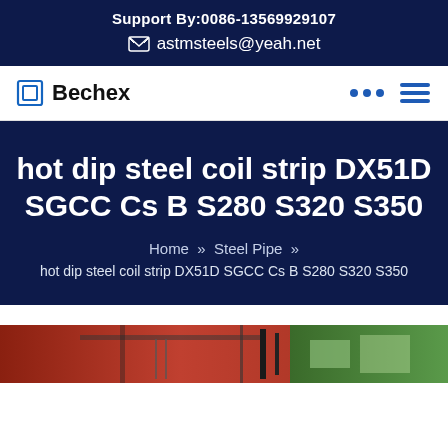Support By:0086-13569929107
astmsteels@yeah.net
[Figure (logo): Bechex logo with square icon and company name]
hot dip steel coil strip DX51D SGCC Cs B S280 S320 S350
Home » Steel Pipe » hot dip steel coil strip DX51D SGCC Cs B S280 S320 S350
[Figure (photo): Industrial factory/warehouse photo showing red and green structures]